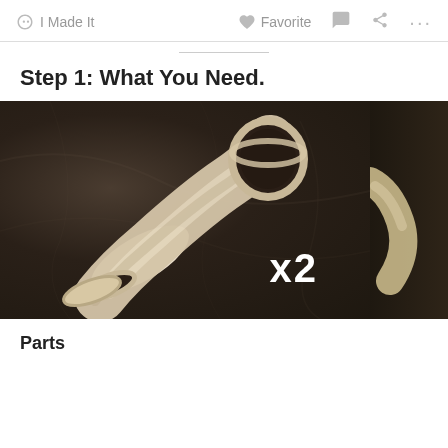I Made It   Favorite   ...
Step 1: What You Need.
[Figure (photo): A PVC pipe elbow fitting photographed on a dark marble surface, with 'x2' text overlay indicating two pieces are needed. A second partially visible photo is cropped on the right side.]
Parts